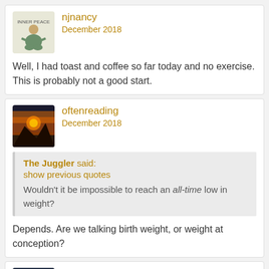njnancy
December 2018
Well, I had toast and coffee so far today and no exercise. This is probably not a good start.
oftenreading
December 2018
The Juggler said: show previous quotes Wouldn't it be impossible to reach an all-time low in weight?
Depends. Are we talking birth weight, or weight at conception?
Thoughts_Arrive